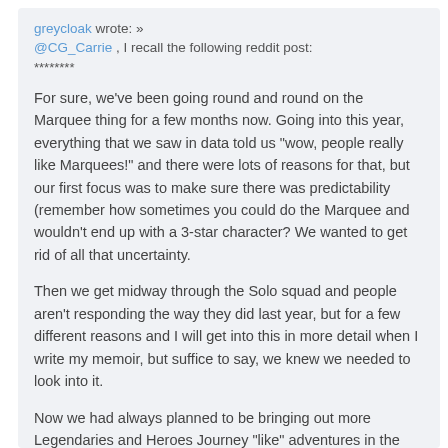greycloak wrote: »
@CG_Carrie , I recall the following reddit post:
********
For sure, we've been going round and round on the Marquee thing for a few months now. Going into this year, everything that we saw in data told us "wow, people really like Marquees!" and there were lots of reasons for that, but our first focus was to make sure there was predictability (remember how sometimes you could do the Marquee and wouldn't end up with a 3-star character? We wanted to get rid of all that uncertainty.
Then we get midway through the Solo squad and people aren't responding the way they did last year, but for a few different reasons and I will get into this in more detail when I write my memoir, but suffice to say, we knew we needed to look into it.
Now we had always planned to be bringing out more Legendaries and Heroes Journey "like" adventures in the second half of this year (and when I say half, our first...